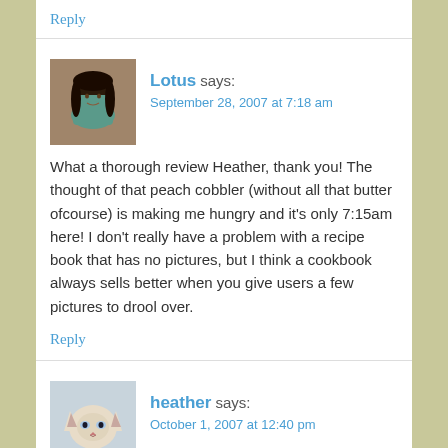Reply
[Figure (photo): Avatar photo of Lotus, a woman with dark hair]
Lotus says:
September 28, 2007 at 7:18 am
What a thorough review Heather, thank you! The thought of that peach cobbler (without all that butter ofcourse) is making me hungry and it's only 7:15am here! I don't really have a problem with a recipe book that has no pictures, but I think a cookbook always sells better when you give users a few pictures to drool over.
Reply
[Figure (photo): Avatar photo of heather, a Siamese cat]
heather says:
October 1, 2007 at 12:40 pm
Bellezza: It's certainly a favorite of mine taste-wise.